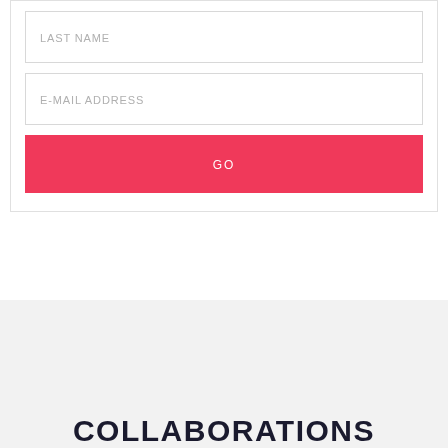LAST NAME
E-MAIL ADDRESS
GO
COLLABORATIONS